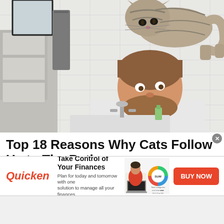[Figure (photo): A smiling bearded man at a bathroom sink looking up at a tabby cat perched on the edge of a mirror or shelf above him. White subway tile walls, gray towel, chrome faucet visible.]
Top 18 Reasons Why Cats Follow Us to The Bathroom
Geas.best | Sponsored
[Figure (screenshot): Quicken advertisement banner: Red italic 'Quicken' logo on left, text 'Take Control of Your Finances – Plan for today and tomorrow with one solution to manage all your finances.' Center shows a woman at a laptop with a financial donut chart. Right side has a red 'BUY NOW' button.]